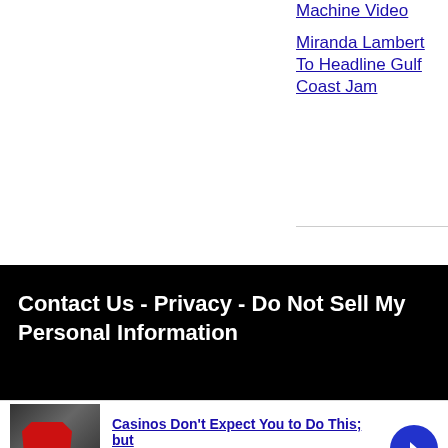Machine Video
Miranda Lambert To Headline Gulf Coast Jam
Contact Us - Privacy - Do Not Sell My Personal Information
[Figure (photo): Ad banner showing a person in a red jacket with text 'Casinos Don't Expect You to Do This; but']
Casinos Don't Expect You to Do This; but
n/a
daily-winners.com